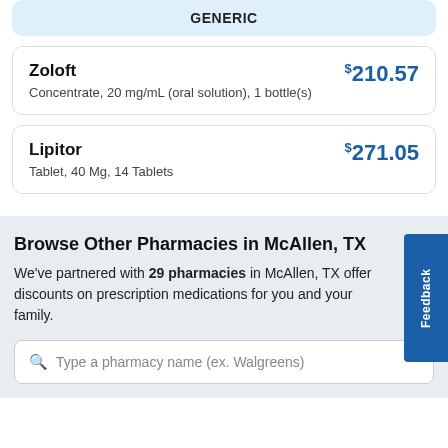GENERIC
| Drug | Price |
| --- | --- |
| Zoloft
Concentrate, 20 mg/mL (oral solution), 1 bottle(s) | $210.57 |
| Lipitor
Tablet, 40 Mg, 14 Tablets | $271.05 |
Browse Other Pharmacies in McAllen, TX
We've partnered with 29 pharmacies in McAllen, TX offer discounts on prescription medications for you and your family.
Type a pharmacy name (ex. Walgreens)